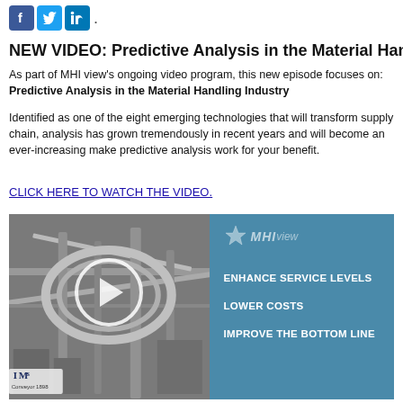[Figure (logo): Social media icons: Facebook, Twitter, LinkedIn]
NEW VIDEO: Predictive Analysis in the Material Handling Industry
As part of MHI view's ongoing video program, this new episode focuses on:
Predictive Analysis in the Material Handling Industry
Identified as one of the eight emerging technologies that will transform supply chain, analysis has grown tremendously in recent years and will become an ever-increasing make predictive analysis work for your benefit.
CLICK HERE TO WATCH THE VIDEO.
[Figure (screenshot): Video thumbnail showing warehouse conveyor system with play button overlay on left half; right half is teal/blue panel with MHI view logo and bullet points: ENHANCE SERVICE LEVELS, LOWER COSTS, IMPROVE THE BOTTOM LINE]